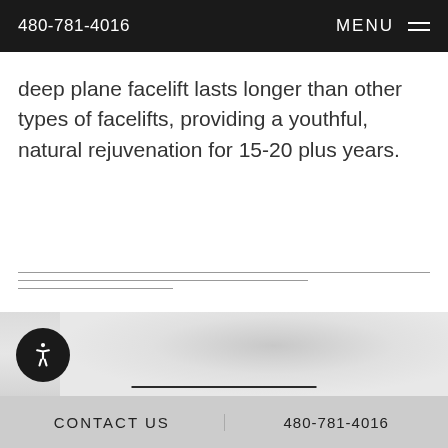480-781-4016  MENU
deep plane facelift lasts longer than other types of facelifts, providing a youthful, natural rejuvenation for 15-20 plus years.
[Figure (photo): Faint background image of a face, light gray tones, partially visible]
CONTACT US   480-781-4016